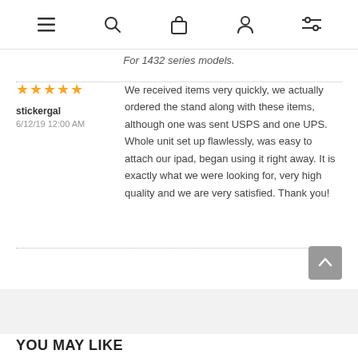[navigation icons: menu, search, bag, profile, filter]
For 1432 series models.
stickergal
6/12/19 12:00 AM
★★★★★
We received items very quickly, we actually ordered the stand along with these items, although one was sent USPS and one UPS. Whole unit set up flawlessly, was easy to attach our ipad, began using it right away. It is exactly what we were looking for, very high quality and we are very satisfied. Thank you!
YOU MAY LIKE